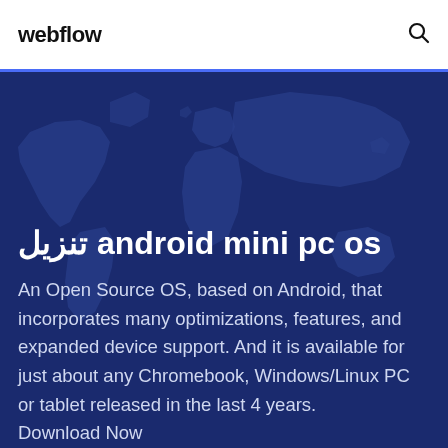webflow
تنزيل android mini pc os
An Open Source OS, based on Android, that incorporates many optimizations, features, and expanded device support. And it is available for just about any Chromebook, Windows/Linux PC or tablet released in the last 4 years. Download Now...